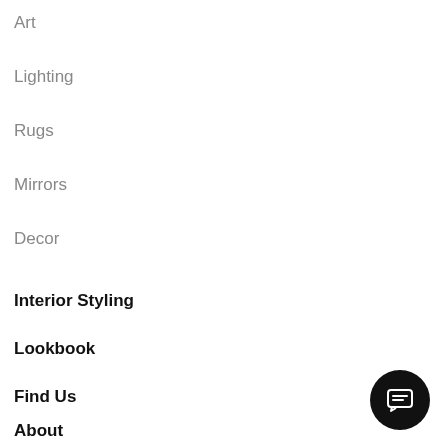Art
Lighting
Rugs
Mirrors
Decor
Interior Styling
Lookbook
Find Us
About
[Figure (illustration): Circular black chat/messaging button icon in the bottom-right corner]